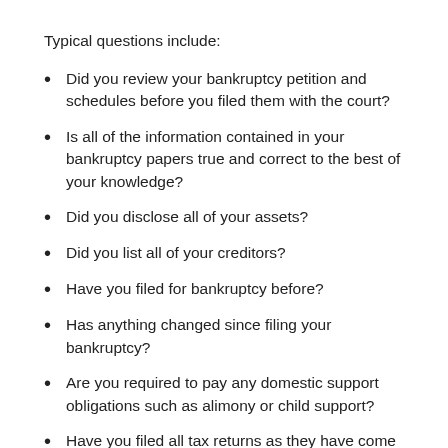Typical questions include:
Did you review your bankruptcy petition and schedules before you filed them with the court?
Is all of the information contained in your bankruptcy papers true and correct to the best of your knowledge?
Did you disclose all of your assets?
Did you list all of your creditors?
Have you filed for bankruptcy before?
Has anything changed since filing your bankruptcy?
Are you required to pay any domestic support obligations such as alimony or child support?
Have you filed all tax returns as they have come due?